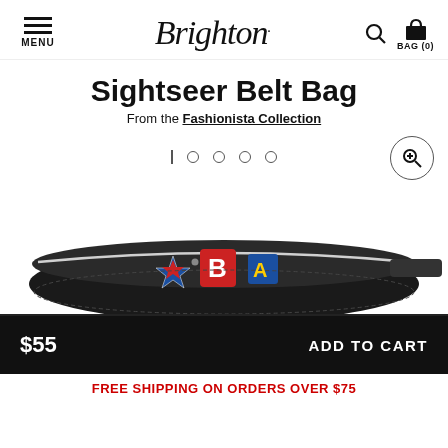Brighton. MENU | Search | BAG (0)
Sightseer Belt Bag
From the Fashionista Collection
[Figure (photo): Photo of Sightseer Belt Bag, a black belt bag with colorful embroidered patches including stars and letters, shown from a side/top angle]
$55  ADD TO CART
FREE SHIPPING ON ORDERS OVER $75